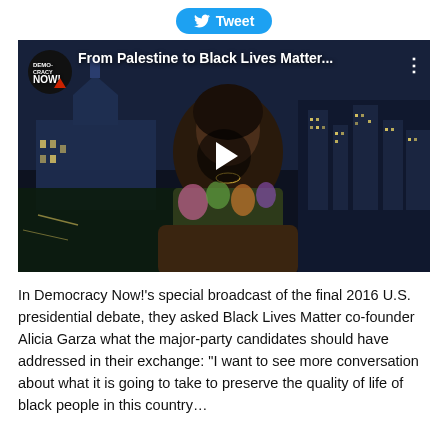[Figure (screenshot): A Twitter Tweet button (blue rounded button with bird icon and 'Tweet' text)]
[Figure (screenshot): Video thumbnail from Democracy Now! showing a Black woman in a floral shirt seated in a broadcast studio with the U.S. Capitol building and city lights in the background at night. The video title reads 'From Palestine to Black Lives Matter...' with the Democracy Now! logo in the top-left corner. A play button is centered on the image.]
In Democracy Now!'s special broadcast of the final 2016 U.S. presidential debate, they asked Black Lives Matter co-founder Alicia Garza what the major-party candidates should have addressed in their exchange: “I want to see more conversation about what it is going to take to preserve the quality of life of black people in this country…”